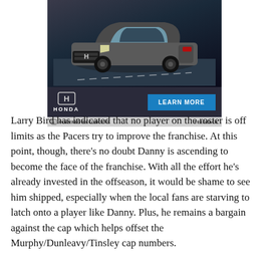[Figure (photo): Honda SUV advertisement showing a dark gray Honda SUV on a road with a blue 'LEARN MORE' button and Honda logo. Bottom bar reads 'POWERED BY CONCERT' and 'FEEDBACK'.]
Larry Bird has indicated that no player on the roster is off limits as the Pacers try to improve the franchise. At this point, though, there's no doubt Danny is ascending to become the face of the franchise. With all the effort he's already invested in the offseason, it would be shame to see him shipped, especially when the local fans are starving to latch onto a player like Danny. Plus, he remains a bargain against the cap which helps offset the Murphy/Dunleavy/Tinsley cap numbers.